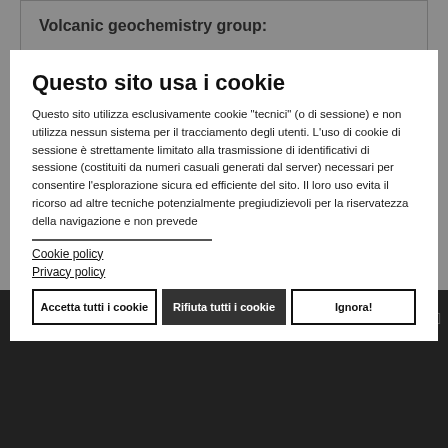| Volcanic geochemistry group: |
| Li Ni (team leader) |
| Zhao Yongwei |
laboratory; microstructure laboratory; volcanic dynamics laboratory; volcanic gases & geochemistry laboratory;
Division of Active Volcanoes is an academic institution for
Questo sito usa i cookie
Questo sito utilizza esclusivamente cookie "tecnici" (o di sessione) e non utilizza nessun sistema per il tracciamento degli utenti. L'uso di cookie di sessione è strettamente limitato alla trasmissione di identificativi di sessione (costituiti da numeri casuali generati dal server) necessari per consentire l'esplorazione sicura ed efficiente del sito. Il loro uso evita il ricorso ad altre tecniche potenzialmente pregiudizievoli per la riservatezza della navigazione e non prevede
Cookie policy
Privacy policy
Accetta tutti i cookie
Rifiuta tutti i cookie
Ignora!